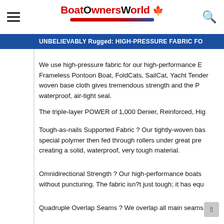[Figure (logo): BoatOwnersWorld logo with red text, blue/red swoosh underline, and Canadian maple leaf icon]
UNBELIEVABLY Rugged: HIGH-PRESSURE FABRIC FO...
We use high-pressure fabric for our high-performance E... Frameless Pontoon Boat, FoldCats, SailCat, Yacht Tender... woven base cloth gives tremendous strength and the P... waterproof, air-tight seal.
The triple-layer POWER of 1,000 Denier, Reinforced, Hig...
Tough-as-nails Supported Fabric ? Our tightly-woven bas... special polymer then fed through rollers under great pre... creating a solid, waterproof, very tough material.
Omnidirectional Strength ? Our high-performance boats... without puncturing. The fabric isn?t just tough; it has equ...
Quadruple Overlap Seams ? We overlap all main seams v...